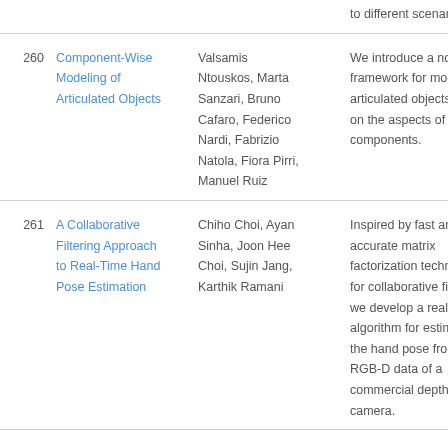| # | Title | Authors | Abstract |
| --- | --- | --- | --- |
|  |  |  | to different scenarios. |
| 260 | Component-Wise Modeling of Articulated Objects | Valsamis Ntouskos, Marta Sanzari, Bruno Cafaro, Federico Nardi, Fabrizio Natola, Fiora Pirri, Manuel Ruiz | We introduce a novel framework for modeling articulated objects based on the aspects of their components. |
| 261 | A Collaborative Filtering Approach to Real-Time Hand Pose Estimation | Chiho Choi, Ayan Sinha, Joon Hee Choi, Sujin Jang, Karthik Ramani | Inspired by fast and accurate matrix factorization techniques for collaborative filtering, we develop a real-time algorithm for estimating the hand pose from RGB-D data of a commercial depth camera. |
|  | On the Equivalence of Maxing... |  | In this paper, we show using a thick-lens imaging model, that |